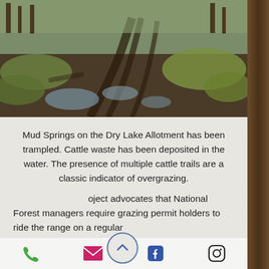[Figure (photo): Muddy, trampled ground at Mud Springs on the Dry Lake Allotment showing cattle trails, standing water, and hoof damage amid green grass.]
Mud Springs on the Dry Lake Allotment has been trampled. Cattle waste has been deposited in the water. The presence of multiple cattle trails are a classic indicator of overgrazing.
...oject advocates that National Forest managers require grazing permit holders to ride the range on a regular basis to...